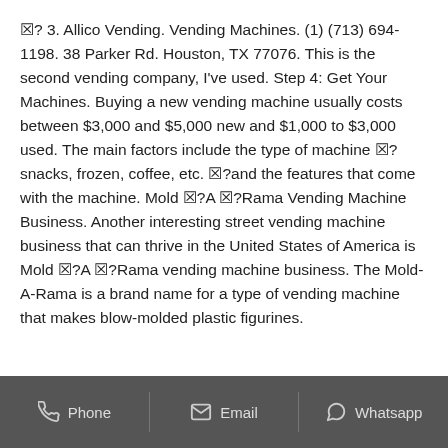☒? 3. Allico Vending. Vending Machines. (1) (713) 694-1198. 38 Parker Rd. Houston, TX 77076. This is the second vending company, I've used. Step 4: Get Your Machines. Buying a new vending machine usually costs between $3,000 and $5,000 new and $1,000 to $3,000 used. The main factors include the type of machine ☒?snacks, frozen, coffee, etc. ☒?and the features that come with the machine. Mold ☒?A ☒?Rama Vending Machine Business. Another interesting street vending machine business that can thrive in the United States of America is Mold ☒?A ☒?Rama vending machine business. The Mold-A-Rama is a brand name for a type of vending machine that makes blow-molded plastic figurines.
Phone  Email  Whatsapp